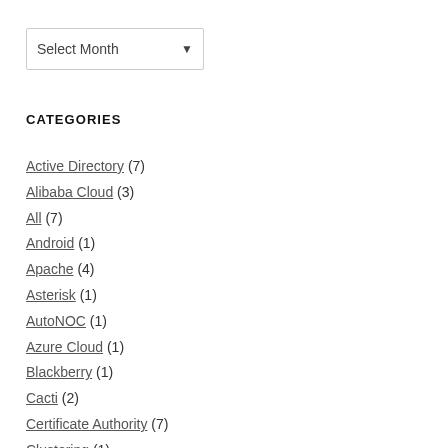[Figure (other): A dropdown/select UI element labeled 'Select Month' with a downward arrow indicator]
CATEGORIES
Active Directory (7)
Alibaba Cloud (3)
All (7)
Android (1)
Apache (4)
Asterisk (1)
AutoNOC (1)
Azure Cloud (1)
Blackberry (1)
Cacti (2)
Certificate Authority (7)
Clustering (1)
Docker for (77)